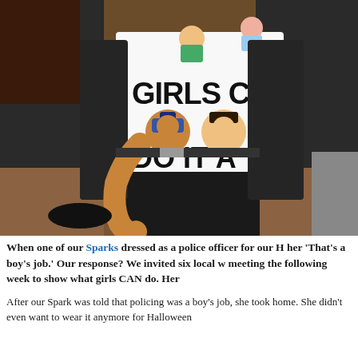[Figure (photo): A child wearing a white 'Girls Can Do It' t-shirt featuring cartoon emoji-style illustrations of female professionals (doctor, nurse, police officer, firefighter). The shirt reads 'GIRLS CAN DO IT'. The child is wearing black pants and is standing on a wooden floor. The image is cropped to show mainly the torso area.]
When one of our Sparks dressed as a police officer for our H her 'That's a boy's job.' Our response? We invited six local w meeting the following week to show what girls CAN do. Her
After our Spark was told that policing was a boy's job, she took home. She didn't even want to wear it anymore for Halloween